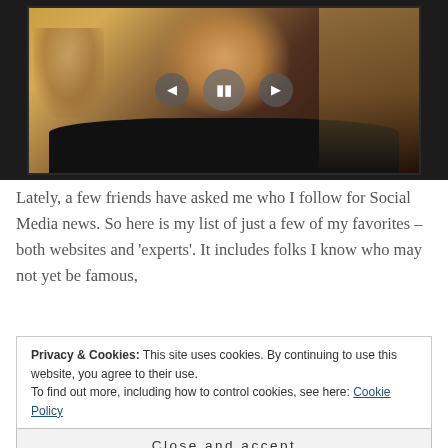[Figure (photo): Photo of a man with dark hair and goatee wearing a black shirt, shown in a media player interface with playback controls (back, pause, forward) overlaid on the image. Dark frame surround.]
Lately, a few friends have asked me who I follow for Social Media news. So here is my list of just a few of my favorites – both websites and 'experts'. It includes folks I know who may not yet be famous,
Privacy & Cookies: This site uses cookies. By continuing to use this website, you agree to their use.
To find out more, including how to control cookies, see here: Cookie Policy
Close and accept
1. Debbie Weil: Leading lady of social media